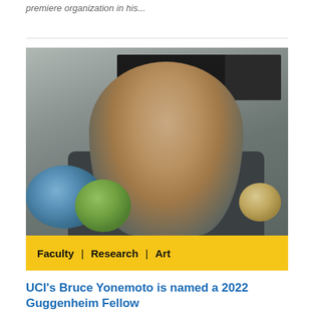premiere organization in his...
[Figure (photo): A man wearing glasses and a dark shirt sits in front of globes and artwork/photographs on the wall behind him. The photo has a yellow banner at the bottom reading 'Faculty | Research | Art'.]
Faculty | Research | Art
UCI's Bruce Yonemoto is named a 2022 Guggenheim Fellow